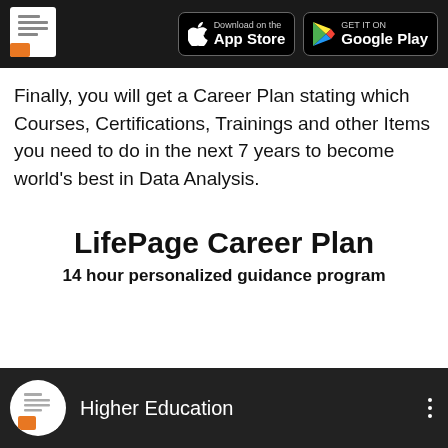LifePage App Store / Google Play header
Finally, you will get a Career Plan stating which Courses, Certifications, Trainings and other Items you need to do in the next 7 years to become world’s best in Data Analysis.
LifePage Career Plan
14 hour personalized guidance program
[Figure (screenshot): Video card showing Higher Education label with LifePage logo avatar on dark background]